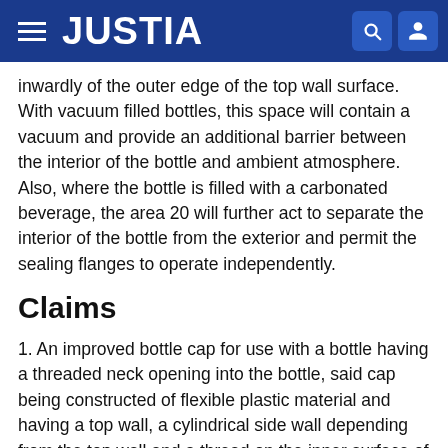JUSTIA
inwardly of the outer edge of the top wall surface. With vacuum filled bottles, this space will contain a vacuum and provide an additional barrier between the interior of the bottle and ambient atmosphere. Also, where the bottle is filled with a carbonated beverage, the area 20 will further act to separate the interior of the bottle from the exterior and permit the sealing flanges to operate independently.
Claims
1. An improved bottle cap for use with a bottle having a threaded neck opening into the bottle, said cap being constructed of flexible plastic material and having a top wall, a cylindrical side wall depending from the top wall and a thread on the inner surface of the side wall for cooperating with the thread on the neck of the bottle,